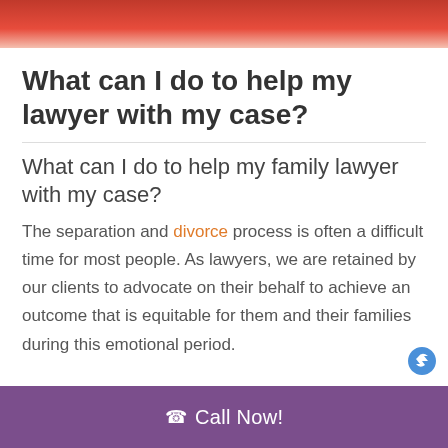[Figure (photo): Top image bar showing a partial photograph with red/warm tones, cropped at top of page]
What can I do to help my lawyer with my case?
What can I do to help my family lawyer with my case?
The separation and divorce process is often a difficult time for most people. As lawyers, we are retained by our clients to advocate on their behalf to achieve an outcome that is equitable for them and their families during this emotional period.
Call Now!